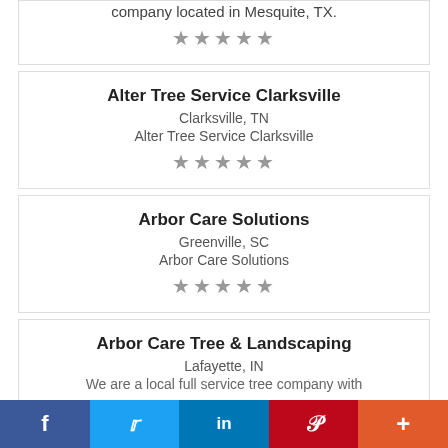company located in Mesquite, TX.
★★★★★
Alter Tree Service Clarksville
Clarksville, TN
Alter Tree Service Clarksville
★★★★★
Arbor Care Solutions
Greenville, SC
Arbor Care Solutions
★★★★★
Arbor Care Tree & Landscaping
Lafayette, IN
We are a local full service tree company with